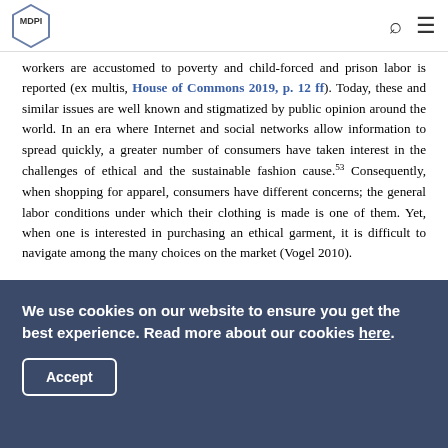MDPI
workers are accustomed to poverty and child-forced and prison labor is reported (ex multis, House of Commons 2019, p. 12 ff). Today, these and similar issues are well known and stigmatized by public opinion around the world. In an era where Internet and social networks allow information to spread quickly, a greater number of consumers have taken interest in the challenges of ethical and the sustainable fashion cause.53 Consequently, when shopping for apparel, consumers have different concerns; the general labor conditions under which their clothing is made is one of them. Yet, when one is interested in purchasing an ethical garment, it is difficult to navigate among the many choices on the market (Vogel 2010).
We use cookies on our website to ensure you get the best experience. Read more about our cookies here.
Accept